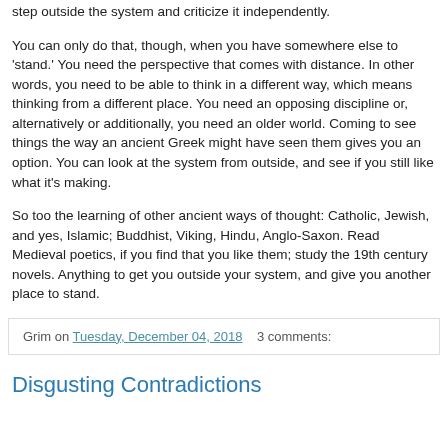step outside the system and criticize it independently.
You can only do that, though, when you have somewhere else to 'stand.' You need the perspective that comes with distance. In other words, you need to be able to think in a different way, which means thinking from a different place. You need an opposing discipline or, alternatively or additionally, you need an older world. Coming to see things the way an ancient Greek might have seen them gives you an option. You can look at the system from outside, and see if you still like what it's making.
So too the learning of other ancient ways of thought: Catholic, Jewish, and yes, Islamic; Buddhist, Viking, Hindu, Anglo-Saxon. Read Medieval poetics, if you find that you like them; study the 19th century novels. Anything to get you outside your system, and give you another place to stand.
Grim on Tuesday, December 04, 2018   3 comments:
Disgusting Contradictions